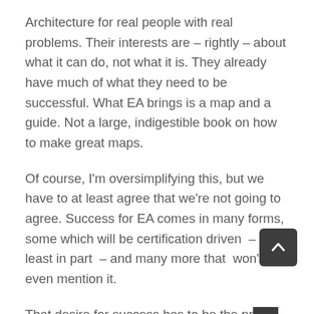Architecture for real people with real problems. Their interests are – rightly – about what it can do, not what it is. They already have much of what they need to be successful. What EA brings is a map and a guide. Not a large, indigestible book on how to make great maps.
Of course, I'm oversimplifying this, but we have to at least agree that we're not going to agree. Success for EA comes in many forms, some which will be certification driven  – at least in part  – and many more that  won't even mention it.
That desire for success has to be the pr[obscured] reason we get up and go to work .  This is what will